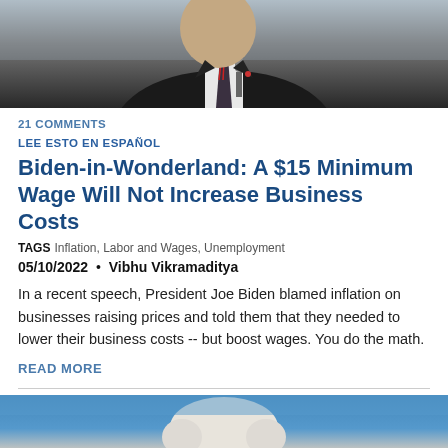[Figure (photo): Photo of a man in a dark suit holding a microphone, upper portion of body visible, speaking at an event]
21 COMMENTS
LEE ESTO EN ESPAÑOL
Biden-in-Wonderland: A $15 Minimum Wage Will Not Increase Business Costs
TAGS  Inflation, Labor and Wages, Unemployment
05/10/2022 • Vibhu Vikramaditya
In a recent speech, President Joe Biden blamed inflation on businesses raising prices and told them that they needed to lower their business costs -- but boost wages. You do the math.
READ MORE
[Figure (photo): Photo of an elderly man with white hair, blue background, partially cropped at bottom of page]